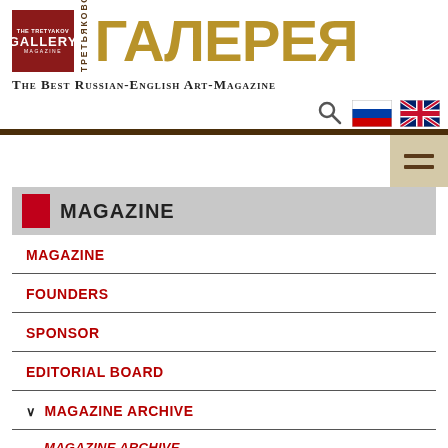[Figure (logo): The Tretyakov Gallery Magazine logo with red square emblem, vertical Cyrillic text, and large gold Cyrillic ГАЛЕРЕЯ heading]
The Best Russian-English Art-Magazine
[Figure (screenshot): Search icon and two flag icons (Russian and UK) for language selection, plus hamburger menu button]
MAGAZINE
MAGAZINE
FOUNDERS
SPONSOR
EDITORIAL BOARD
MAGAZINE ARCHIVE
MAGAZINE ARCHIVE